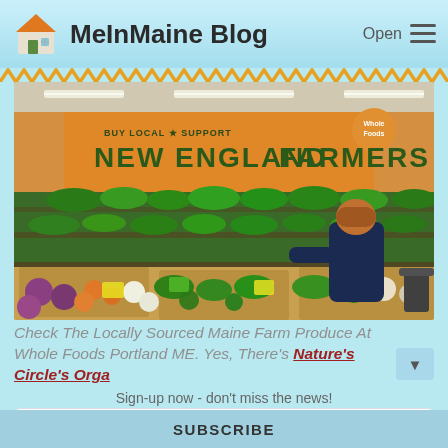MeInMaine Blog
[Figure (photo): Interior of Whole Foods grocery store produce section with large orange and green wall signage reading 'BUY LOCAL SUPPORT NEW ENGLAND FARMERS'. Shelves stocked with leafy greens and vegetables. A shopper in a dark coat stands at the right side viewing produce displays.]
Check The Locally Sourced Maine Farm Produce At Whole Foods Portland ME. Yes, There's Nature's Circle's Orga
Sign-up now - don't miss the news!
Your email address..
SUBSCRIBE